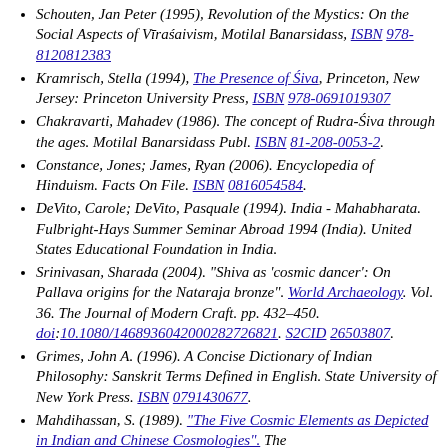Schouten, Jan Peter (1995), Revolution of the Mystics: On the Social Aspects of Vīraśaivism, Motilal Banarsidass, ISBN 978-8120812383
Kramrisch, Stella (1994), The Presence of Śiva, Princeton, New Jersey: Princeton University Press, ISBN 978-0691019307
Chakravarti, Mahadev (1986). The concept of Rudra-Śiva through the ages. Motilal Banarsidass Publ. ISBN 81-208-0053-2.
Constance, Jones; James, Ryan (2006). Encyclopedia of Hinduism. Facts On File. ISBN 0816054584.
DeVito, Carole; DeVito, Pasquale (1994). India - Mahabharata. Fulbright-Hays Summer Seminar Abroad 1994 (India). United States Educational Foundation in India.
Srinivasan, Sharada (2004). "Shiva as 'cosmic dancer': On Pallava origins for the Nataraja bronze". World Archaeology. Vol. 36. The Journal of Modern Craft. pp. 432–450. doi:10.1080/14689360420002827268​21. S2CID 26503807.
Grimes, John A. (1996). A Concise Dictionary of Indian Philosophy: Sanskrit Terms Defined in English. State University of New York Press. ISBN 0791430677.
Mahdihassan, S. (1989). "The Five Cosmic Elements as Depicted in Indian and Chinese Cosmologies". The